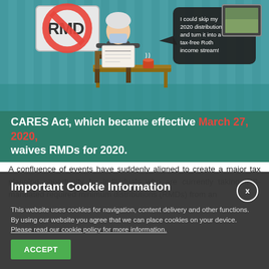[Figure (illustration): Infographic showing an elderly man with a face mask reading a newspaper at a table with coffee, a speech bubble reading 'I could skip my 2020 distribution and turn it into a tax-free Roth income stream!', a no-symbol over 'RMD' on the left, and a framed picture on the right. Lower banner reads: 'CARES Act, which became effective March 27, 2020, waives RMDs for 2020.']
A confluence of events have suddenly aligned to create a major tax planning opportunity for individuals who are currently taking IRS-mandated required minimum distributions (RMDs) from an
Important Cookie Information
This website uses cookies for navigation, content delivery and other functions. By using our website you agree that we can place cookies on your device. Please read our cookie policy for more information.